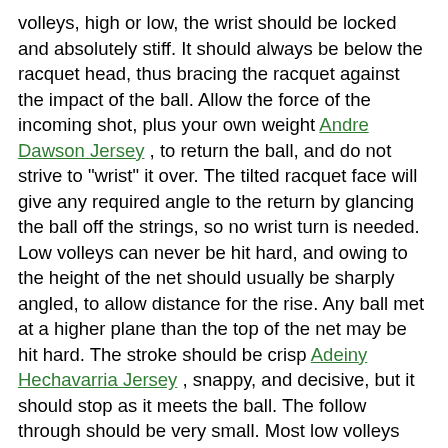volleys, high or low, the wrist should be locked and absolutely stiff. It should always be below the racquet head, thus bracing the racquet against the impact of the ball. Allow the force of the incoming shot, plus your own weight Andre Dawson Jersey , to return the ball, and do not strive to "wrist" it over. The tilted racquet face will give any required angle to the return by glancing the ball off the strings, so no wrist turn is needed. Low volleys can never be hit hard, and owing to the height of the net should usually be sharply angled, to allow distance for the rise. Any ball met at a higher plane than the top of the net may be hit hard. The stroke should be crisp Adeiny Hechavarria Jersey , snappy, and decisive, but it should stop as it meets the ball. The follow through should be very small. Most low volleys should be soft and short. Most high volleys require speed and length. The "stop" volley is nothing more than a shot blocked short. There is no force used. The racquet simply meets the oncoming ball and stops it. The ball rebounds and falls of its own weight. There is little bounce to such a shot, and that may be reduced by allowing the racquet to slide slightly under the ball at the moment of impact, thus imparting back spin to the ball. Volleying is a science based on the old geometric axiom that a straight line is the shortest distance between two